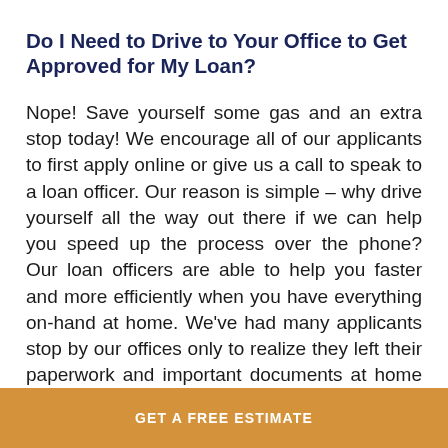Do I Need to Drive to Your Office to Get Approved for My Loan?
Nope! Save yourself some gas and an extra stop today! We encourage all of our applicants to first apply online or give us a call to speak to a loan officer. Our reason is simple – why drive yourself all the way out there if we can help you speed up the process over the phone? Our loan officers are able to help you faster and more efficiently when you have everything on-hand at home. We've had many applicants stop by our offices only to realize they left their paperwork and important documents at home and had to take extra time to
GET A FREE ESTIMATE